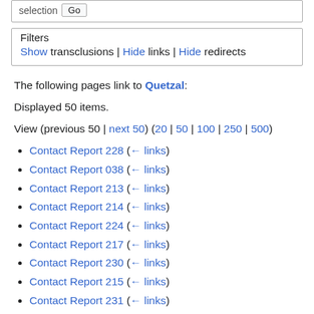Filters
Show transclusions | Hide links | Hide redirects
The following pages link to Quetzal:
Displayed 50 items.
View (previous 50 | next 50) (20 | 50 | 100 | 250 | 500)
Contact Report 228  (← links)
Contact Report 038  (← links)
Contact Report 213  (← links)
Contact Report 214  (← links)
Contact Report 224  (← links)
Contact Report 217  (← links)
Contact Report 230  (← links)
Contact Report 215  (← links)
Contact Report 231  (← links)